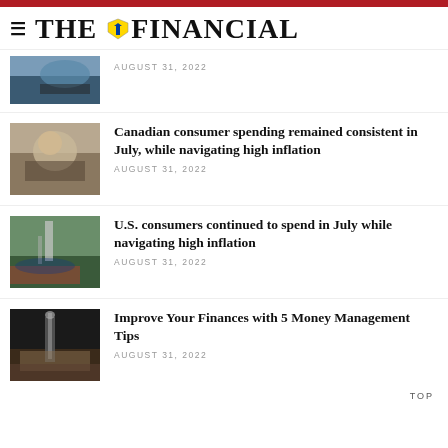THE FINANCIAL
AUGUST 31, 2022
Canadian consumer spending remained consistent in July, while navigating high inflation
AUGUST 31, 2022
U.S. consumers continued to spend in July while navigating high inflation
AUGUST 31, 2022
Improve Your Finances with 5 Money Management Tips
AUGUST 31, 2022
TOP